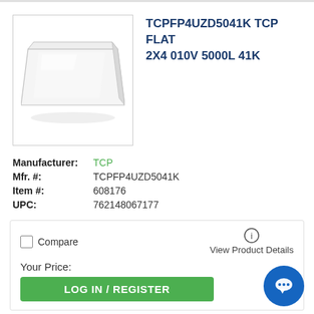[Figure (photo): Product image of TCP flat LED panel light, white rectangular panel on white background]
TCPFP4UZD5041K TCP FLAT 2X4 010V 5000L 41K
Manufacturer: TCP
Mfr. #: TCPFP4UZD5041K
Item #: 608176
UPC: 762148067177
Compare
View Product Details
Your Price:
LOG IN / REGISTER